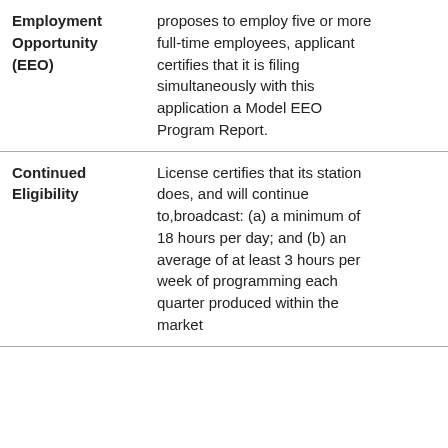| Employment Opportunity (EEO) | proposes to employ five or more full-time employees, applicant certifies that it is filing simultaneously with this application a Model EEO Program Report. |  |
| Continued Eligibility | License certifies that its station does, and will continue to,broadcast: (a) a minimum of 18 hours per day; and (b) an average of at least 3 hours per week of programming each quarter produced within the market |  |